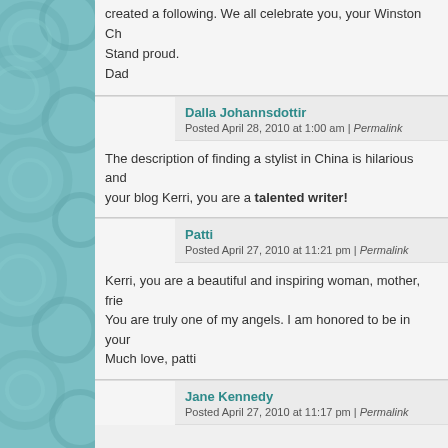created a following. We all celebrate you, your Winston Ch… Stand proud. Dad
Dalla Johannsdottir
Posted April 28, 2010 at 1:00 am | Permalink
The description of finding a stylist in China is hilarious and… your blog Kerri, you are a talented writer!
Patti
Posted April 27, 2010 at 11:21 pm | Permalink
Kerri, you are a beautiful and inspiring woman, mother, frie… You are truly one of my angels. I am honored to be in your… Much love, patti
Jane Kennedy
Posted April 27, 2010 at 11:17 pm | Permalink